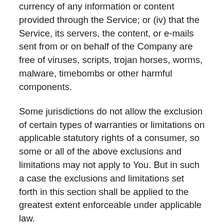currency of any information or content provided through the Service; or (iv) that the Service, its servers, the content, or e-mails sent from or on behalf of the Company are free of viruses, scripts, trojan horses, worms, malware, timebombs or other harmful components.
Some jurisdictions do not allow the exclusion of certain types of warranties or limitations on applicable statutory rights of a consumer, so some or all of the above exclusions and limitations may not apply to You. But in such a case the exclusions and limitations set forth in this section shall be applied to the greatest extent enforceable under applicable law.
Governing Law